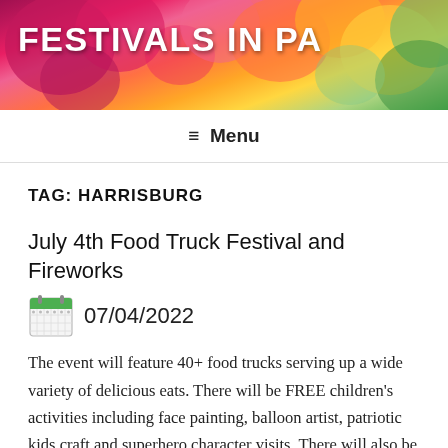FESTIVALS IN PA
≡ Menu
TAG: HARRISBURG
July 4th Food Truck Festival and Fireworks
07/04/2022
The event will feature 40+ food trucks serving up a wide variety of delicious eats. There will be FREE children's activities including face painting, balloon artist, patriotic kids craft and superhero character visits. There will also be live music and the largest fireworks display in Central PA! Fireworks will start at 9:15pm. New this year …